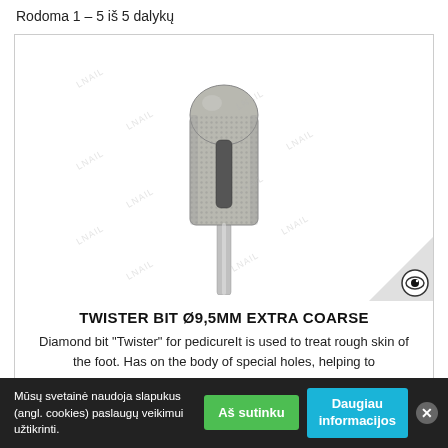Rodoma 1 – 5 iš 5 dalykų
[Figure (photo): Diamond nail/pedicure drill bit called Twister Bit, cylindrical with rounded top, coarse diamond coating, with a vertical slot/hole on the body, on a metal shank. Watermark text 'LNAIL' repeated diagonally. Bottom-right corner triangle with eye icon.]
TWISTER BIT Ø9,5MM EXTRA COARSE
Diamond bit "Twister" for pedicureIt is used to treat rough skin of the foot. Has on the body of special holes, helping to
Mūsų svetainė naudoja slapukus (angl. cookies) paslaugų veikimui užtikrinti.
Aš sutinku
Daugiau informacijos